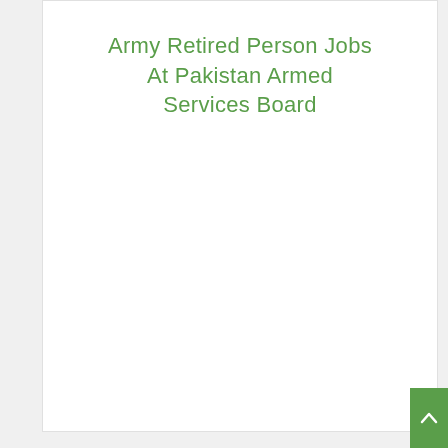Army Retired Person Jobs At Pakistan Armed Services Board
[Figure (other): Empty white card/box below the title card, representing a content placeholder or advertisement area]
[Figure (other): Scroll-to-top button in green with upward arrow, positioned at bottom right corner]